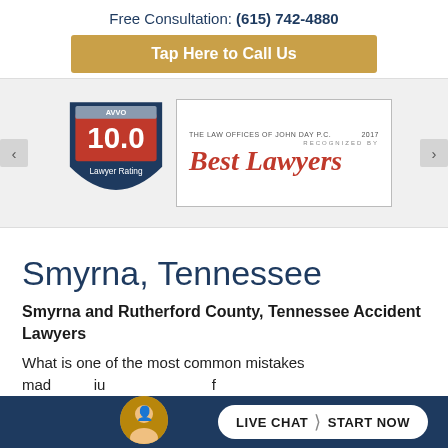Free Consultation: (615) 742-4880
Tap Here to Call Us
[Figure (logo): Avvo 10.0 Lawyer Rating shield badge]
[Figure (logo): The Law Offices of John Day P.C. 2017 Recognized by Best Lawyers]
Smyrna, Tennessee
Smyrna and Rutherford County, Tennessee Accident Lawyers
What is one of the most common mistakes mad... iu... of
LIVE CHAT  START NOW